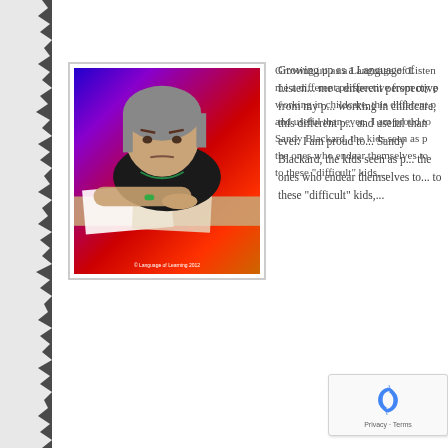[Figure (photo): Child leaning on desk with colorful red/blue/purple gradient background, appearing to do schoolwork]
Growing up as a Language of Listening® parent gave me a different perspective from my peers. Now, working in childcare, this different perspective is vital and useful than ever. I am proud to share, as Sandy Blackard, the kids seen as problems are often the ones who endear themselves to me. I am drawn to these "difficult" kids,...
[Figure (screenshot): Google reCAPTCHA widget showing recycling arrow icon and Privacy · Terms links]